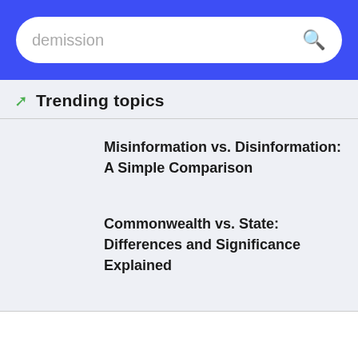demission
Trending topics
Misinformation vs. Disinformation: A Simple Comparison
Commonwealth vs. State: Differences and Significance Explained
What Does ISTG Mean? The Abbreviation Explained